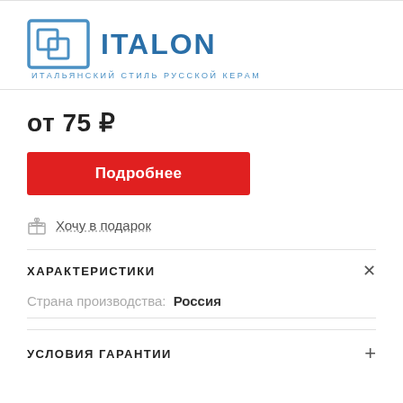[Figure (logo): ITALON brand logo — blue square icon with interlocked squares, bold ITALON text in blue, subtitle 'ИТАЛЬЯНСКИЙ СТИЛЬ РУССКОЙ КЕРАМИКИ' in smaller blue text]
от 75 ₽
Подробнее
Хочу в подарок
ХАРАКТЕРИСТИКИ
Страна производства: Россия
УСЛОВИЯ ГАРАНТИИ